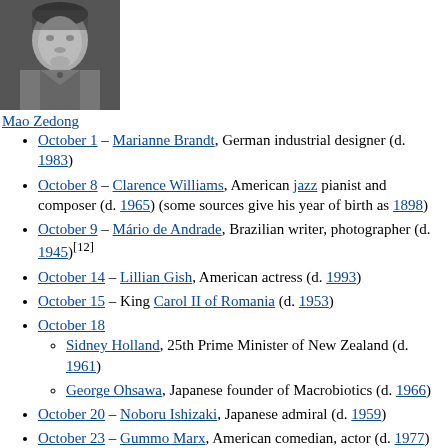[Figure (photo): Black and white portrait photograph of Mao Zedong]
Mao Zedong
October 1 – Marianne Brandt, German industrial designer (d. 1983)
October 8 – Clarence Williams, American jazz pianist and composer (d. 1965) (some sources give his year of birth as 1898)
October 9 – Mário de Andrade, Brazilian writer, photographer (d. 1945)[12]
October 14 – Lillian Gish, American actress (d. 1993)
October 15 – King Carol II of Romania (d. 1953)
October 18
Sidney Holland, 25th Prime Minister of New Zealand (d. 1961)
George Ohsawa, Japanese founder of Macrobiotics (d. 1966)
October 20 – Noboru Ishizaki, Japanese admiral (d. 1959)
October 23 – Gummo Marx, American comedian, actor (d. 1977)